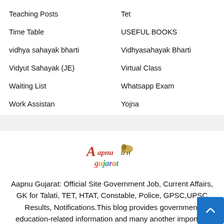Teaching Posts
Tet
Time Table
USEFUL BOOKS
vidhya sahayak bharti
Vidhyasahayak Bharti
Vidyut Sahayak (JE)
Virtual Class
Waiting List
Whatsapp Exam
Work Assistan
Yojna
[Figure (logo): Aapnu Gujarat logo with decorative text in red and multicolor]
Aapnu Gujarat: Official Site Government Job, Current Affairs, GK for Talati, TET, HTAT, Constable, Police, GPSC,UPSC Results, Notifications.This blog provides government education-related information and many another important